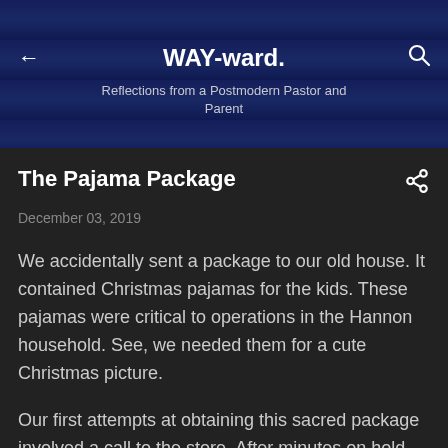WAY-ward.
Reflections from a Postmodern Pastor and Parent
The Pajama Package
December 03, 2019
We accidentally sent a package to our old house. It contained Christmas pajamas for the kids. These pajamas were critical to operations in the Hannon household. See, we needed them for a cute Christmas picture.
Our first attempts at obtaining this sacred package involved a call to the store. After minutes on hold and a merry-go-round conversation (the type of